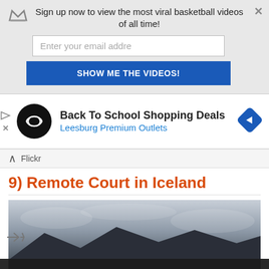Sign up now to view the most viral basketball videos of all time!
Enter your email addre
SHOW ME THE VIDEOS!
[Figure (infographic): Ad banner: Back To School Shopping Deals, Leesburg Premium Outlets with logos]
Back To School Shopping Deals
Leesburg Premium Outlets
Flickr
9) Remote Court in Iceland
[Figure (photo): Partially visible outdoor basketball court photo in Iceland with dramatic cloudy sky and mountainous background]
By continuing to use the site, you agree to the use of cookies.
more information
Accept